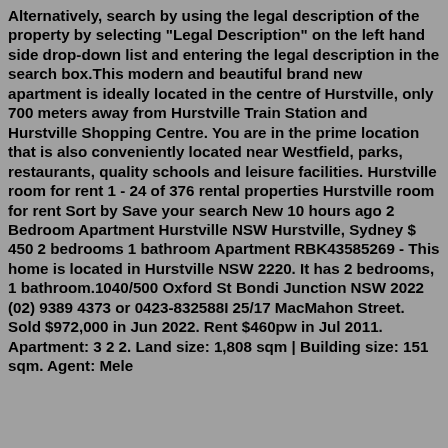Alternatively, search by using the legal description of the property by selecting "Legal Description" on the left hand side drop-down list and entering the legal description in the search box.This modern and beautiful brand new apartment is ideally located in the centre of Hurstville, only 700 meters away from Hurstville Train Station and Hurstville Shopping Centre. You are in the prime location that is also conveniently located near Westfield, parks, restaurants, quality schools and leisure facilities. Hurstville room for rent 1 - 24 of 376 rental properties Hurstville room for rent Sort by Save your search New 10 hours ago 2 Bedroom Apartment Hurstville NSW Hurstville, Sydney $ 450 2 bedrooms 1 bathroom Apartment RBK43585269 - This home is located in Hurstville NSW 2220. It has 2 bedrooms, 1 bathroom.1040/500 Oxford St Bondi Junction NSW 2022 (02) 9389 4373 or 0423-832588I 25/17 MacMahon Street. Sold $972,000 in Jun 2022. Rent $460pw in Jul 2011. Apartment: 3 2 2. Land size: 1,808 sqm | Building size: 151 sqm. Agent: Mele